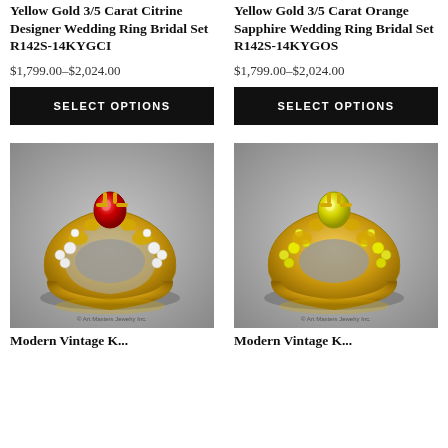Yellow Gold 3/5 Carat Citrine Designer Wedding Ring Bridal Set R142S-14KYGCI
$1,799.00–$2,024.00
SELECT OPTIONS
Yellow Gold 3/5 Carat Orange Sapphire Wedding Ring Bridal Set R142S-14KYGOS
$1,799.00–$2,024.00
SELECT OPTIONS
[Figure (photo): Yellow gold bridal ring set with red/ruby center stone and white diamond accents on grey background]
[Figure (photo): Yellow gold bridal ring set with yellow sapphire stones throughout on grey background]
Modern Vintage K...
Modern Vintage K...